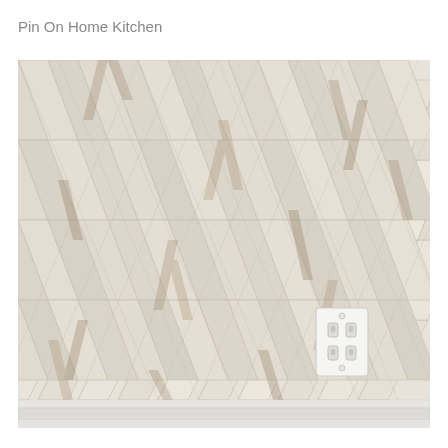Pin On Home Kitchen
[Figure (photo): Herringbone pattern wall tile with a whitewashed distressed wood-look finish, showing diagonal chevron/herringbone arrangement of rectangular tiles in off-white and beige tones with brown streaks. A white electrical outlet is visible in the lower right area of the tile wall. At the bottom of the image, a white baseboard trim is partially visible.]